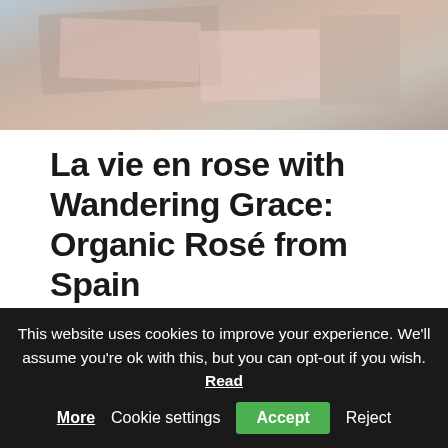[Figure (photo): Partial photo showing notebooks, books, and gift-wrapped items on a desk surface]
La vie en rose with Wandering Grace: Organic Rosé from Spain
4 Comments / Uncategorized / By Eileen Schuch
Wandering Grace is a wonderful premium organic rosé wine from Castilla. Elegant and gentle in nature, it sublimes all the special moments in life. A wine that will delight not only experienced and passionate rosé lovers, but also those who would otherwise not
This website uses cookies to improve your experience. We'll assume you're ok with this, but you can opt-out if you wish. Read More   Cookie settings   Accept   Reject